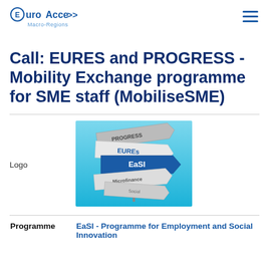EuroAccess Macro-Regions
Call: EURES and PROGRESS - Mobility Exchange programme for SME staff (MobiliseSME)
| Logo | [EaSI signpost image] |
| Programme | EaSI - Programme for Employment and Social Innovation |